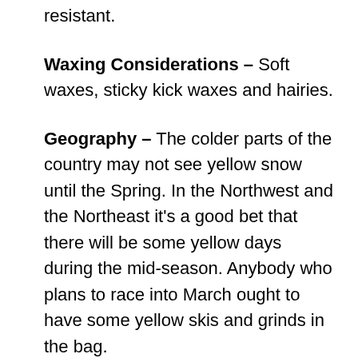resistant.
Waxing Considerations – Soft waxes, sticky kick waxes and hairies.
Geography – The colder parts of the country may not see yellow snow until the Spring. In the Northwest and the Northeast it's a good bet that there will be some yellow days during the mid-season. Anybody who plans to race into March ought to have some yellow skis and grinds in the bag.